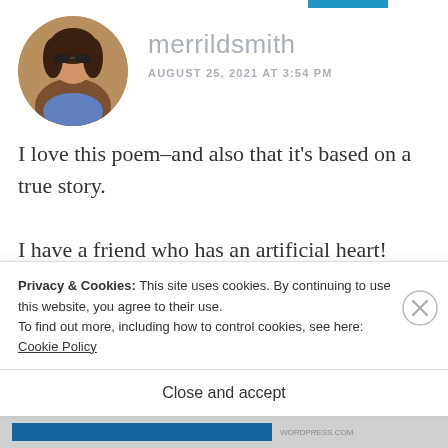[Figure (photo): Circular profile photo of a woman wearing sunglasses, outdoors]
merrildsmith
AUGUST 25, 2021 AT 3:54 PM
I love this poem–and also that it's based on a true story.

I have a friend who has an artificial heart!
Liked by 1 person
Privacy & Cookies: This site uses cookies. By continuing to use this website, you agree to their use.
To find out more, including how to control cookies, see here: Cookie Policy
Close and accept